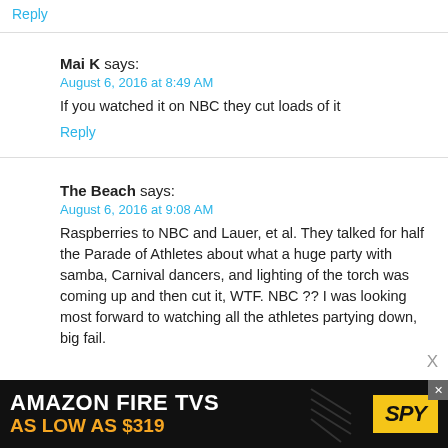Reply
Mai K says:
August 6, 2016 at 8:49 AM
If you watched it on NBC they cut loads of it
Reply
The Beach says:
August 6, 2016 at 9:08 AM
Raspberries to NBC and Lauer, et al. They talked for half the Parade of Athletes about what a huge party with samba, Carnival dancers, and lighting of the torch was coming up and then cut it, WTF. NBC ?? I was looking most forward to watching all the athletes partying down, big fail.
[Figure (screenshot): Amazon Fire TVs advertisement banner: 'AMAZON FIRE TVS AS LOW AS $319' with SPY logo on black background]